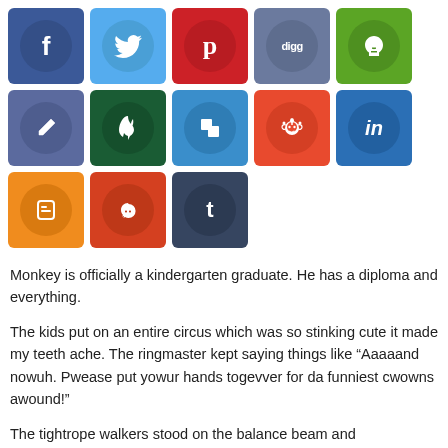[Figure (infographic): Grid of 13 social media share buttons: Facebook, Twitter, Pinterest, Digg, Evernote (row 1); a pen/edit icon, a leaf/plant icon, a share squares icon, Reddit, LinkedIn (row 2); Blogger, StumbleUpon, Tumblr (row 3). Each button is a colored square with a darker circle containing a white icon or letter.]
Monkey is officially a kindergarten graduate. He has a diploma and everything.
The kids put on an entire circus which was so stinking cute it made my teeth ache. The ringmaster kept saying things like “Aaaaand nowuh. Pwease put yowur hands togevver for da funniest cwowns awound!”
The tightrope walkers stood on the balance beam and